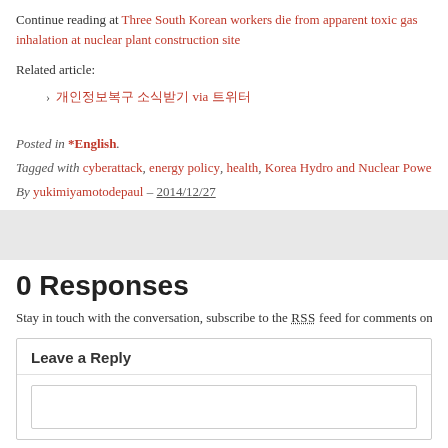Continue reading at Three South Korean workers die from apparent toxic gas inhalation at nuclear plant construction site
Related article:
[Korean text] via [Korean text]
Posted in *English.
Tagged with cyberattack, energy policy, health, Korea Hydro and Nuclear Power Co.
By yukimiyamotodepaul – 2014/12/27
0 Responses
Stay in touch with the conversation, subscribe to the RSS feed for comments on th
Leave a Reply